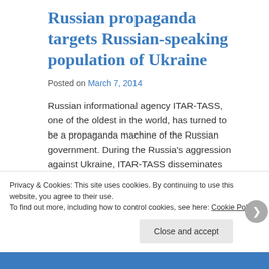Russian propaganda targets Russian-speaking population of Ukraine
Posted on March 7, 2014
Russian informational agency ITAR-TASS, one of the oldest in the world, has turned to be a propaganda machine of the Russian government. During the Russia's aggression against Ukraine, ITAR-TASS disseminates false news, in particular, the one, that Ukrainian government ordered to delete Russian-language pages of official sites in Ukraine. Those so called news are absurd and are not proved by any sources.
Recently, Ukrainian journalists have launched at least two sites that analyze fake news and false from Russian media –
Privacy & Cookies: This site uses cookies. By continuing to use this website, you agree to their use.
To find out more, including how to control cookies, see here: Cookie Policy
Close and accept